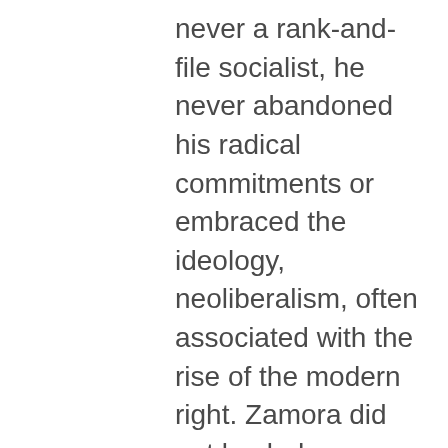never a rank-and-file socialist, he never abandoned his radical commitments or embraced the ideology, neoliberalism, often associated with the rise of the modern right. Zamora did not back down. Five days after the release of his interview he published another piece in Jacobin raising the stakes. Foucault, he said, “actively contributed” to the “destruction” of the welfare state and “in a way that was entirely in step with the neoliberal critiques of the moment.” Again, Foucault’s defenders refuted Zamora’s arguments as based on